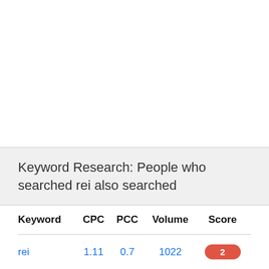Keyword Research: People who searched rei also searched
| Keyword | CPC | PCC | Volume | Score |
| --- | --- | --- | --- | --- |
| rei | 1.11 | 0.7 | 1022 | 2 |
| rei outlet | 0.5 | 0.9 | 5356 |  |
| rei.com | 0.45 | 0.6 | 6057 | 60 |